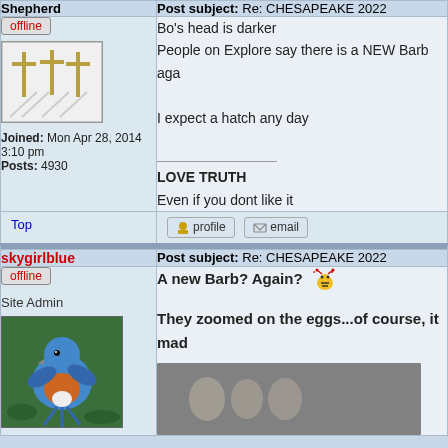| Shepherd | Post subject: Re: CHESAPEAKE 2022 |
| --- | --- |
| offline
[avatar: crosses]
Joined: Mon Apr 28, 2014 3:10 pm
Posts: 4930 | Bo's head is darker
People on Explore say there is a NEW Barb aga...

I expect a hatch any day

_______________
LOVE TRUTH
Even if you dont like it |
Top
profile  email
| skygirlblue | Post subject: Re: CHESAPEAKE 2022 |
| --- | --- |
| offline
Site Admin
[bird avatar photo] | A new Barb? Again? 🐝

They zoomed on the eggs...of course, it mad...
[egg photo] |